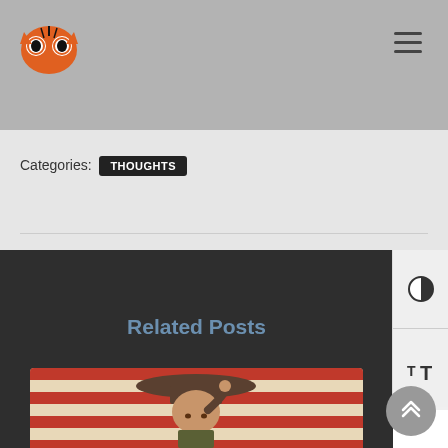Categories:  THOUGHTS
Related Posts
[Figure (photo): Person in military or scout uniform with wide-brimmed hat, saluting in front of a flag with red and white stripes]
[Figure (screenshot): Right-side UI panel with contrast toggle (half-circle icon) and text size toggle (T+ icon)]
[Figure (logo): Tiger eyes logo in orange and black pixel art style]